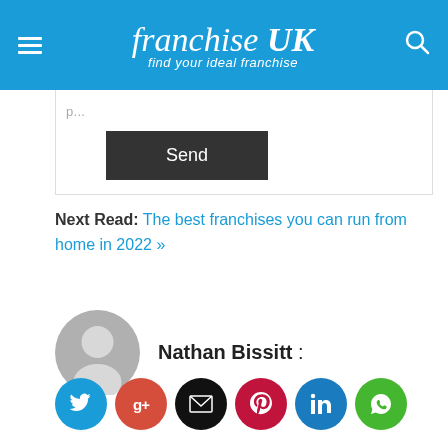franchise UK — find your ideal franchise
[Figure (screenshot): Send button on a white form area with a text input stub at top]
Next Read: The best franchises you can run from home in 2022 »
Nathan Bissitt :
[Figure (illustration): Grey avatar/profile placeholder icon]
[Figure (infographic): Social sharing buttons: Twitter (blue), Google+ (red), Email (black), Pinterest (dark red), LinkedIn (blue), WhatsApp (green)]